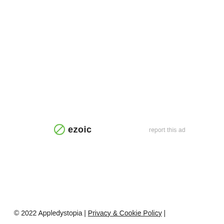[Figure (logo): Ezoic logo with green circle-slash icon and bold 'ezoic' text in dark color]
report this ad
© 2022 Appledystopia | Privacy & Cookie Policy |